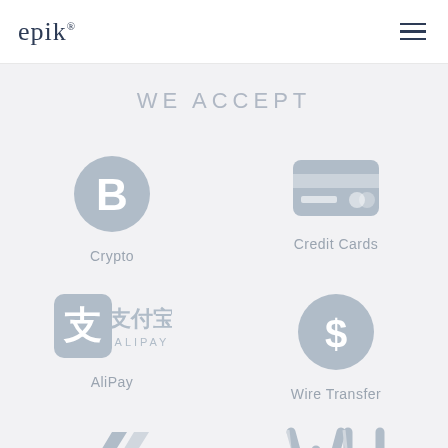epik®
WE ACCEPT
[Figure (logo): Bitcoin/Crypto circle icon with B symbol]
Crypto
[Figure (logo): Credit card icon]
Credit Cards
[Figure (logo): Alipay logo with Chinese characters 支付宝]
AliPay
[Figure (logo): Wire transfer dollar circle icon]
Wire Transfer
[Figure (logo): Transferwise/Wise zigzag arrow logo]
[Figure (logo): Western Union WU logo]